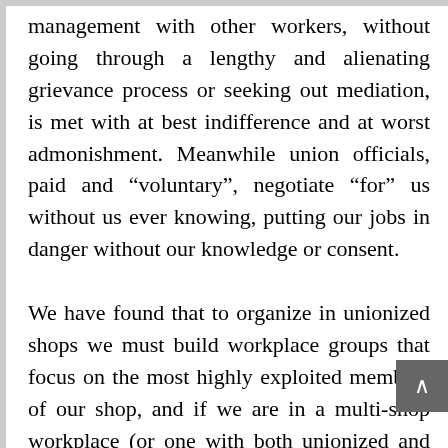management with other workers, without going through a lengthy and alienating grievance process or seeking out mediation, is met with at best indifference and at worst admonishment. Meanwhile union officials, paid and “voluntary”, negotiate “for” us without us ever knowing, putting our jobs in danger without our knowledge or consent.

We have found that to organize in unionized shops we must build workplace groups that focus on the most highly exploited members of our shop, and if we are in a multi-shop workplace (or one with both unionized and non-union workers), we must build organizations that